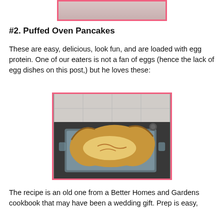[Figure (photo): Top portion of a food photo partially visible at top of page, pink/red border]
#2. Puffed Oven Pancakes
These are easy, delicious, look fun, and are loaded with egg protein. One of our eaters is not a fan of eggs (hence the lack of egg dishes on this post,) but he loves these:
[Figure (photo): Photo of a puffed oven pancake in a glass baking dish on a stovetop, pancake edges are puffed and golden brown, with pink/red border]
The recipe is an old one from a Better Homes and Gardens cookbook that may have been a wedding gift. Prep is easy,